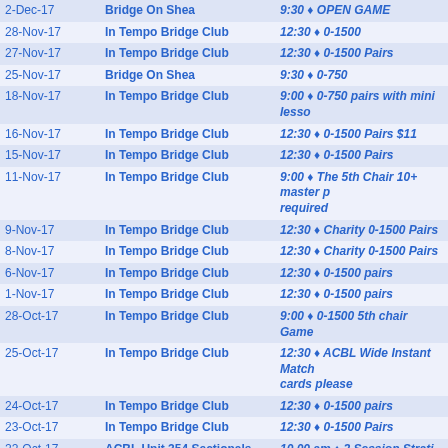| Date | Venue | Event |
| --- | --- | --- |
| 2-Dec-17 | Bridge On Shea | 9:30 ♦ OPEN GAME |
| 28-Nov-17 | In Tempo Bridge Club | 12:30 ♦ 0-1500 |
| 27-Nov-17 | In Tempo Bridge Club | 12:30 ♦ 0-1500 Pairs |
| 25-Nov-17 | Bridge On Shea | 9:30 ♦ 0-750 |
| 18-Nov-17 | In Tempo Bridge Club | 9:00 ♦ 0-750 pairs with mini lesso |
| 16-Nov-17 | In Tempo Bridge Club | 12:30 ♦ 0-1500 Pairs $11 |
| 15-Nov-17 | In Tempo Bridge Club | 12:30 ♦ 0-1500 Pairs |
| 11-Nov-17 | In Tempo Bridge Club | 9:00 ♦ The 5th Chair 10+ master p required |
| 9-Nov-17 | In Tempo Bridge Club | 12:30 ♦ Charity 0-1500 Pairs |
| 8-Nov-17 | In Tempo Bridge Club | 12:30 ♦ Charity 0-1500 Pairs |
| 6-Nov-17 | In Tempo Bridge Club | 12:30 ♦ 0-1500 pairs |
| 1-Nov-17 | In Tempo Bridge Club | 12:30 ♦ 0-1500 pairs |
| 28-Oct-17 | In Tempo Bridge Club | 9:00 ♦ 0-1500 5th chair Game |
| 25-Oct-17 | In Tempo Bridge Club | 12:30 ♦ ACBL Wide Instant Match cards please |
| 24-Oct-17 | In Tempo Bridge Club | 12:30 ♦ 0-1500 pairs |
| 23-Oct-17 | In Tempo Bridge Club | 12:30 ♦ 0-1500 Pairs |
| 22-Oct-17 | ACBL Unit 354 Sectionals and Events | 10.00 am ♦ 2 Session Strati-Fligh |
| 21-Oct-17 | ACBL Unit 354 Sectionals and Events | 10.00 am ♦ Stratified Open Pairs |
| 20-Oct-17 | ACBL Unit 354 Sectionals and Events | 3.00 pm ♦ Stratified Open Pairs - |
| 20-Oct-17 | ACBL Unit 354 Sectionals and Events | 10.00 am ♦ Stratified Open Pairs |
| 18-Oct-17 | In Tempo Bridge Club | 12:30 ♦ 0-1500 Jane Johnson Clu |
| 17-Oct-17 | In Tempo Bridge Club | 12:30 ♦ 0-1500 pairs |
| 14-Oct-17 | In Tempo Bridge Club | 1:00 ♦ Jane Johnson Club Appre |
| 13-Oct-17 | In Tempo Bridge Club | 12:30 ♦ 0-1500 pairs (partial) |